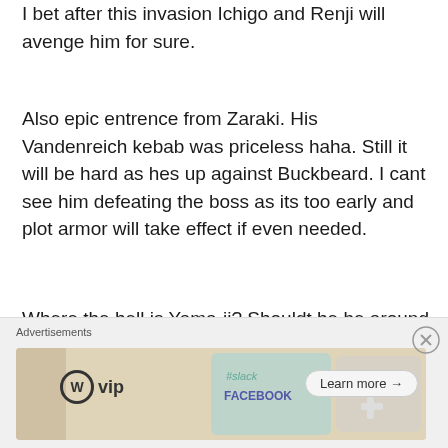I bet after this invasion Ichigo and Renji will avenge him for sure.
Also epic entrence from Zaraki. His Vandenreich kebab was priceless haha. Still it will be hard as hes up against Buckbeard. I cant see him defeating the boss as its too early and plot armor will take effect if even needed.
Where the hell is Yama-ji? Shouldt he be around there as well? He must fight the boss!
PS Still not knowing who the dude in HM is makes me desperate. Damn you Kubo!
[Figure (other): Advertisement banner with WordPress VIP logo, colorful card images (Slack, Facebook), and a 'Learn more' button]